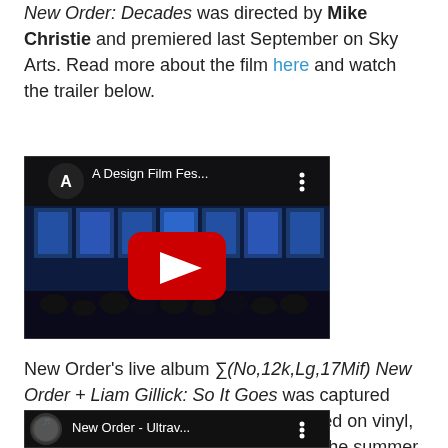New Order: Decades was directed by Mike Christie and premiered last September on Sky Arts. Read more about the film here and watch the trailer below.
[Figure (screenshot): YouTube video thumbnail showing 'A Design Film Fes...' with a YouTube play button overlay on a dark concert scene with a crowd in silhouette against a blue-lit grid backdrop.]
New Order's live album ∑(No,12k,Lg,17Mif) New Order + Liam Gillick: So It Goes was captured during the MIF shows and was released on vinyl, CD, and digital album download over the summer.
[Figure (screenshot): YouTube video thumbnail showing 'New Order - Ultrav...' with a circular channel icon and three-dot menu, partially visible at page bottom.]